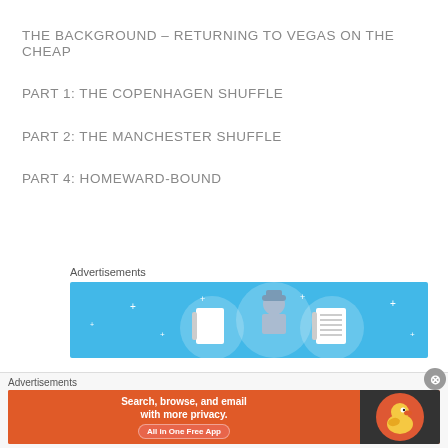THE BACKGROUND – RETURNING TO VEGAS ON THE CHEAP
PART 1: THE COPENHAGEN SHUFFLE
PART 2: THE MANCHESTER SHUFFLE
PART 4: HOMEWARD-BOUND
Advertisements
[Figure (illustration): Advertisement banner with blue background showing a person icon with notebook icons on either side and small star/sparkle decorations]
Advertisements
[Figure (illustration): DuckDuckGo advertisement banner: orange left side with text 'Search, browse, and email with more privacy. All in One Free App', dark right side with DuckDuckGo duck logo]